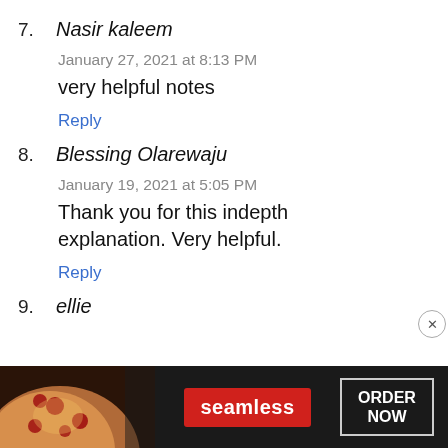7. Nasir kaleem
January 27, 2021 at 8:13 PM
very helpful notes
Reply
8. Blessing Olarewaju
January 19, 2021 at 5:05 PM
Thank you for this indepth explanation. Very helpful.
Reply
9. ellie
[Figure (other): Seamless food delivery advertisement banner with pizza image, red Seamless logo badge, and ORDER NOW button]